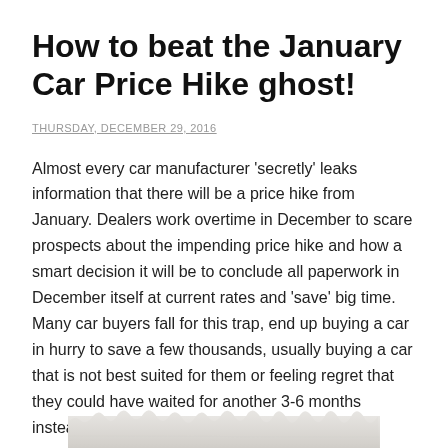How to beat the January Car Price Hike ghost!
THURSDAY, DECEMBER 29, 2016
Almost every car manufacturer 'secretly' leaks information that there will be a price hike from January. Dealers work overtime in December to scare prospects about the impending price hike and how a smart decision it will be to conclude all paperwork in December itself at current rates and 'save' big time. Many car buyers fall for this trap, end up buying a car in hurry to save a few thousands, usually buying a car that is not best suited for them or feeling regret that they could have waited for another 3-6 months instead of buying in a hurry.
[Figure (photo): Torn paper texture image, partially visible at the bottom of the page]